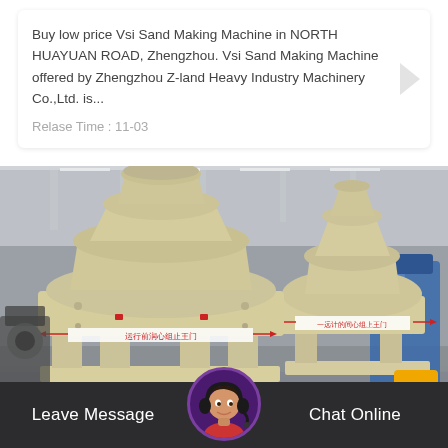Buy low price Vsi Sand Making Machine in NORTH HUAYUAN ROAD, Zhengzhou. Vsi Sand Making Machine offered by Zhengzhou Z-land Heavy Industry Machinery Co.,Ltd. is...
Relase Time : 11-03
[Figure (photo): Industrial photo of VSI sand making machines (vertical shaft impact crushers) in a factory floor. Large beige/cream colored machines with conical tops visible in an industrial warehouse setting. Chinese text labels on machine bodies in red.]